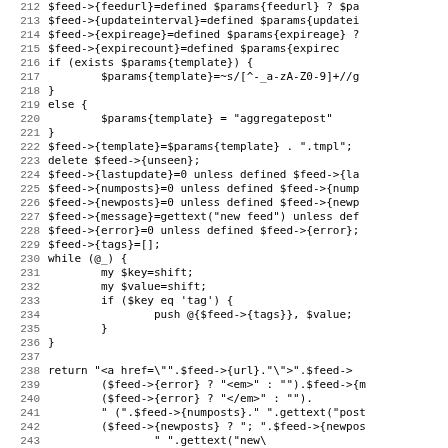[Figure (screenshot): Source code listing showing Perl code lines 212-243, with line numbers on the left and code on the right in monospace font. The code shows feed parameter assignments, template handling, field initialization, a while loop processing key/value pairs with tag handling, and a return statement constructing an HTML anchor tag.]